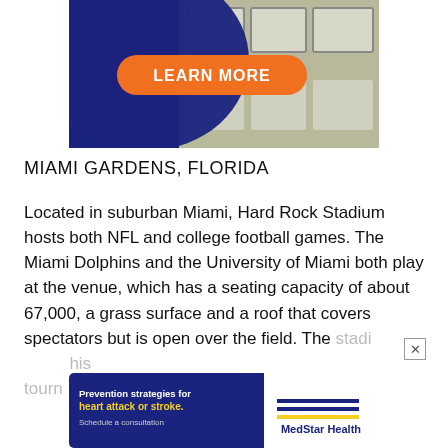[Figure (photo): Advertisement banner showing a house with dark blue wavy overlay and an orange 'LEARN MORE' button]
MIAMI GARDENS, FLORIDA
Located in suburban Miami, Hard Rock Stadium hosts both NFL and college football games. The Miami Dolphins and the University of Miami both play at the venue, which has a seating capacity of about 67,000, a grass surface and a roof that covers spectators but is open over the field. The stadi… his tourn…
[Figure (photo): MedStar Health advertisement: 'Prevention strategies for heart attack or stroke. Schedule a consultation' with MedStar Health logo]